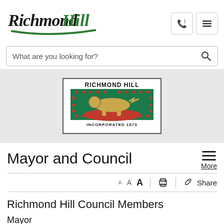[Figure (logo): Richmond Hill city logo with stylized text 'Richmond Hill' in green and black script]
[Figure (logo): Richmond Hill municipal seal showing a lion on green background, 'RICHMOND HILL' text above, 'INCORPORATED 1873' below, with red decorative border dots]
What are you looking for?
Mayor and Council
A A A | 🖨 | ↗ Share
Richmond Hill Council Members
Mayor